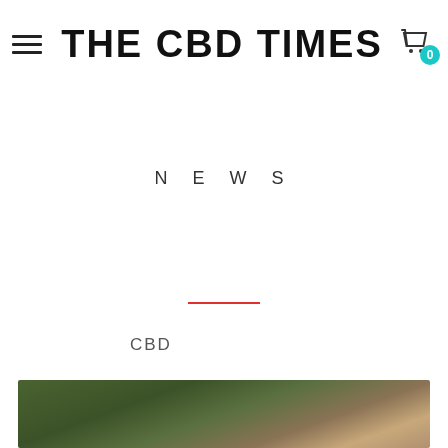THE CBD TIMES
NEWS
CBD
[Figure (photo): Blurred outdoor photo showing green foliage and a warm-toned subject, partially visible at bottom of page]